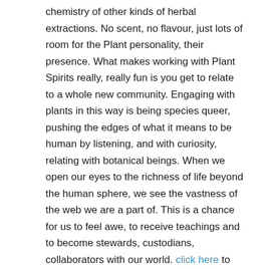chemistry of other kinds of herbal extractions. No scent, no flavour, just lots of room for the Plant personality, their presence. What makes working with Plant Spirits really, really fun is you get to relate to a whole new community. Engaging with plants in this way is being species queer, pushing the edges of what it means to be human by listening, and with curiosity, relating with botanical beings. When we open our eyes to the richness of life beyond the human sphere, we see the vastness of the web we are a part of. This is a chance for us to feel awe, to receive teachings and to become stewards, custodians, collaborators with our world. click here to read more...